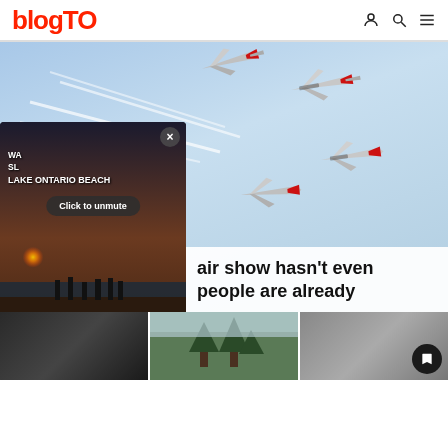blogTO
[Figure (photo): Four military jets (US Air Force Thunderbirds) flying in formation against a light blue sky, leaving white contrails.]
air show hasn't even people are already
[Figure (screenshot): Video popup overlay showing a beach sunset scene at Lake Ontario. Text reads: WA... SL... LAKE ONTARIO BEACH. A 'Click to unmute' button is shown. Caption: Ontario's best sunsets. Pause button visible at bottom left.]
[Figure (photo): Bottom thumbnail strip showing three images: a blurry dark image, a landscape with trees, and a blurry gray image with a bookmark/save button.]